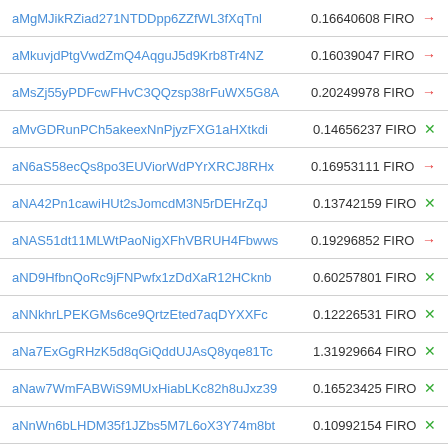| Address | Value | Currency | Icon |
| --- | --- | --- | --- |
| aMgMJikRZiad271NTDDpp6ZZfWL3fXqTnl | 0.16640608 | FIRO | → |
| aMkuvjdPtgVwdZmQ4AqguJ5d9Krb8Tr4NZ | 0.16039047 | FIRO | → |
| aMsZj55yPDFcwFHvC3QQzsp38rFuWX5G8A | 0.20249978 | FIRO | → |
| aMvGDRunPCh5akeexNnPjyzFXG1aHXtkdi | 0.14656237 | FIRO | × |
| aN6aS58ecQs8po3EUViorWdPYrXRCJ8RHx | 0.16953111 | FIRO | → |
| aNA42Pn1cawiHUt2sJomcdM3N5rDEHrZqJ | 0.13742159 | FIRO | × |
| aNAS51dt11MLWtPaoNigXFhVBRUH4Fbwws | 0.19296852 | FIRO | → |
| aND9HfbnQoRc9jFNPwfx1zDdXaR12HCknb | 0.60257801 | FIRO | × |
| aNNkhrLPEKGMs6ce9QrtzEted7aqDYXXFc | 0.12226531 | FIRO | × |
| aNa7ExGgRHzK5d8qGiQddUJAsQ8yqe81Tc | 1.31929664 | FIRO | × |
| aNaw7WmFABWiS9MUxHiabLKc82h8uJxz39 | 0.16523425 | FIRO | × |
| aNnWn6bLHDM35f1JZbs5M7L6oX3Y74m8bt | 0.10992154 | FIRO | × |
| aPDNDnAf5d5U7o4XvvXfEV2KF8s2ietQrE | 0.11179663 | FIRO | × |
| aPQ4DEYzgm6Enh1U7GszXrTQ2bAHZYFtGQ | 0.10257744 | FIRO | × |
| aPb8HZNsaAQtYd1n8LKTKwg1qpuErxDHfg | 0.12359347 | FIRO | × |